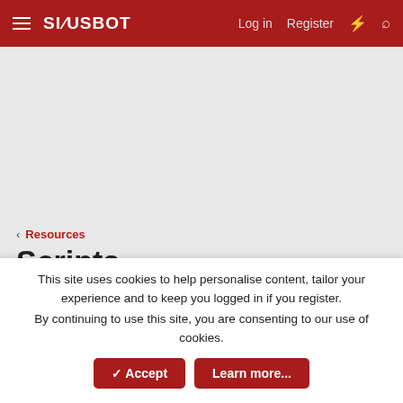SINUSBOT — Log in  Register
[Figure (other): Gray advertisement placeholder area]
< Resources
Scripts
Feel free to share your scripts or download scripts shared by others. You need to have version 0.9.9+ installed (Linux only for now)!
≡  Categories
This site uses cookies to help personalise content, tailor your experience and to keep you logged in if you register.
By continuing to use this site, you are consenting to our use of cookies.
✓ Accept    Learn more...